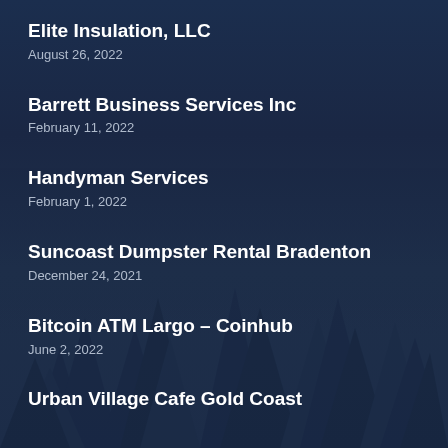Elite Insulation, LLC
August 26, 2022
Barrett Business Services Inc
February 11, 2022
Handyman Services
February 1, 2022
Suncoast Dumpster Rental Bradenton
December 24, 2021
Bitcoin ATM Largo – Coinhub
June 2, 2022
Urban Village Cafe Gold Coast